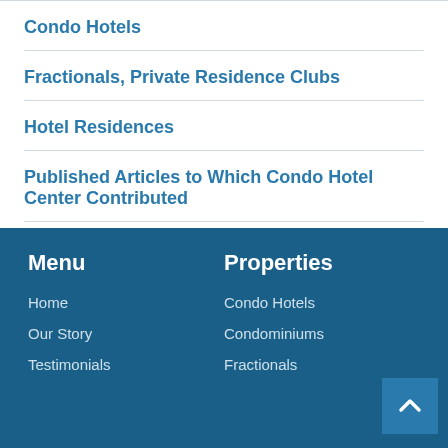Condo Hotels
Fractionals, Private Residence Clubs
Hotel Residences
Published Articles to Which Condo Hotel Center Contributed
Menu | Properties | Home | Our Story | Testimonials | Condo Hotels | Condominiums | Fractionals